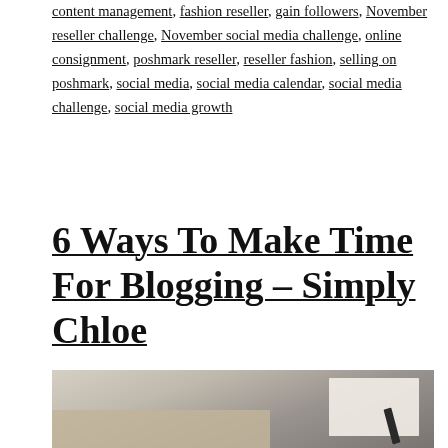content management, fashion reseller, gain followers, November reseller challenge, November social media challenge, online consignment, poshmark reseller, reseller fashion, selling on poshmark, social media, social media calendar, social media challenge, social media growth
6 Ways To Make Time For Blogging – Simply Chloe
[Figure (photo): A blurred lifestyle photo showing a notebook, pen, and wooden surface — a writing/blogging setup.]